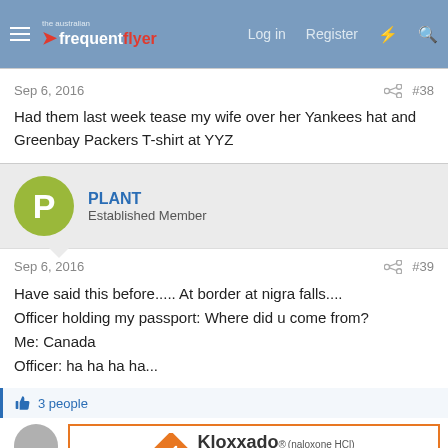the australian frequent flyer — Log in  Register
Sep 6, 2016  #38
Had them last week tease my wife over her Yankees hat and Greenbay Packers T-shirt at YYZ
PLANT — Established Member
Sep 6, 2016  #39
Have said this before..... At border at nigra falls....
Officer holding my passport: Where did u come from?
Me: Canada
Officer: ha ha ha ha...
3 people
[Figure (other): Advertisement for Kloxxado (naloxone HCl) nasal spray 8 mg with orange diamond logo]